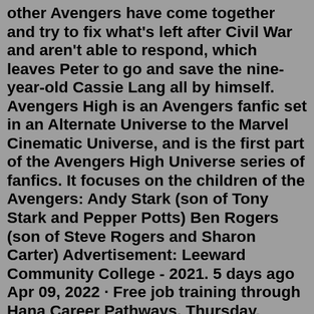other Avengers have come together and try to fix what's left after Civil War and aren't able to respond, which leaves Peter to go and save the nine-year-old Cassie Lang all by himself. Avengers High is an Avengers fanfic set in an Alternate Universe to the Marvel Cinematic Universe, and is the first part of the Avengers High Universe series of fanfics. It focuses on the children of the Avengers: Andy Stark (son of Tony Stark and Pepper Potts) Ben Rogers (son of Steve Rogers and Sharon Carter) Advertisement: Leeward Community College - 2021. 5 days ago Apr 09, 2022 · Free job training through Hana Career Pathways. Thursday, January 13, 2022 - 9:48am. A free training and employment program is gearing up to serve more than 1,000 unemployed or underemployed Hawai'i residents in 2022..Location: Leeward Community College.Date Posted: 06/15/2022....This left you lying on the floor, Pietro on top of you, and both of you incredibly aroused. Gosh darn it you wanted to do bad things to this boy. You moved to get up but found Pietro's weight unfaltering